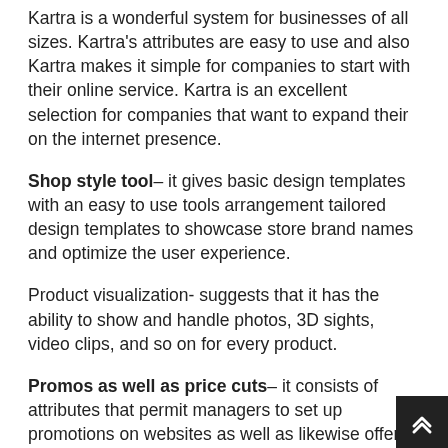Kartra is a wonderful system for businesses of all sizes. Kartra's attributes are easy to use and also Kartra makes it simple for companies to start with their online service. Kartra is an excellent selection for companies that want to expand their on the internet presence.
Shop style tool– it gives basic design templates with an easy to use tools arrangement tailored design templates to showcase store brand names and optimize the user experience.
Product visualization- suggests that it has the ability to show and handle photos, 3D sights, video clips, and so on for every product.
Promos as well as price cuts– it consists of attributes that permit managers to set up promotions on websites as well as likewise offer a time-based price cut and enter discount coupon